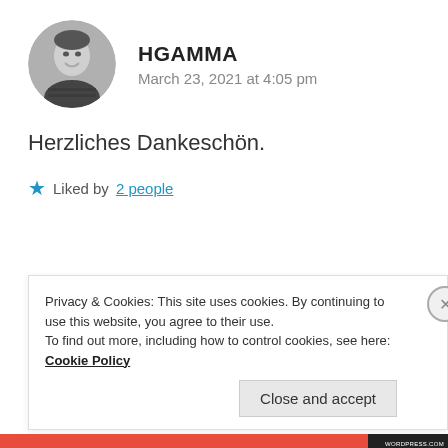[Figure (photo): Circular avatar photo of a man in black and white, smiling]
HGAMMA
March 23, 2021 at 4:05 pm
Herzliches Dankeschön.
★ Liked by 2 people
Privacy & Cookies: This site uses cookies. By continuing to use this website, you agree to their use.
To find out more, including how to control cookies, see here: Cookie Policy
Close and accept